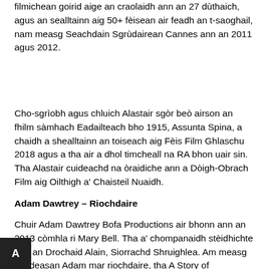filmichean goirid aige an craolaidh ann an 27 dùthaich, agus an sealltainn aig 50+ fèisean air feadh an t-saoghail, nam measg Seachdain Sgrùdairean Cannes ann an 2011 agus 2012.
Cho-sgrìobh agus chluich Alastair sgòr beò airson an fhilm sàmhach Eadailteach bho 1915, Assunta Spina, a chaidh a shealltainn an toiseach aig Fèis Film Ghlaschu 2018 agus a tha air a dhol timcheall na RA bhon uair sin. Tha Alastair cuideachd na òraidiche ann a Dòigh-Obrach Film aig Oilthigh a' Chaisteil Nuaidh.
Adam Dawtrey – Riochdaire
Chuir Adam Dawtrey Bofa Productions air bhonn ann an 2013 còmhla ri Mary Bell. Tha a' chompanaidh stèidhichte ann an Drochaid Alain, Siorrachd Shruighlea. Am measg creideasan Adam mar riochdaire, tha A Story of